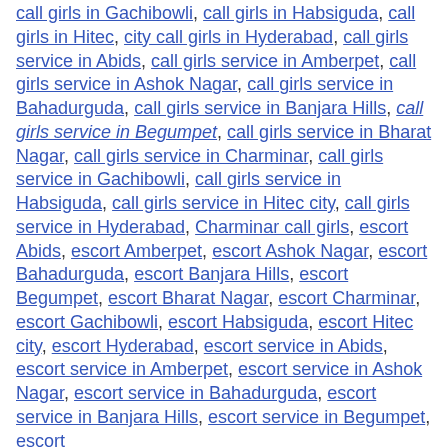call girls in Gachibowli, call girls in Habsiguda, call girls in Hitec, city call girls in Hyderabad, call girls service in Abids, call girls service in Amberpet, call girls service in Ashok Nagar, call girls service in Bahadurguda, call girls service in Banjara Hills, call girls service in Begumpet, call girls service in Bharat Nagar, call girls service in Charminar, call girls service in Gachibowli, call girls service in Habsiguda, call girls service in Hitec city, call girls service in Hyderabad, Charminar call girls, escort Abids, escort Amberpet, escort Ashok Nagar, escort Bahadurguda, escort Banjara Hills, escort Begumpet, escort Bharat Nagar, escort Charminar, escort Gachibowli, escort Habsiguda, escort Hitec city, escort Hyderabad, escort service in Abids, escort service in Amberpet, escort service in Ashok Nagar, escort service in Bahadurguda, escort service in Banjara Hills, escort service in Begumpet, escort